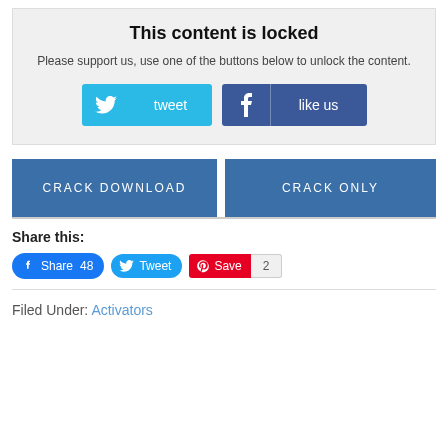This content is locked
Please support us, use one of the buttons below to unlock the content.
[Figure (other): Tweet button (light blue with Twitter bird icon) and Like us button (dark blue with Facebook f icon)]
[Figure (other): CRACK DOWNLOAD button and CRACK ONLY button side by side, both dark blue]
Share this:
[Figure (other): Social share buttons: Facebook Share 48, Tweet, Pinterest Save 2]
Filed Under: Activators